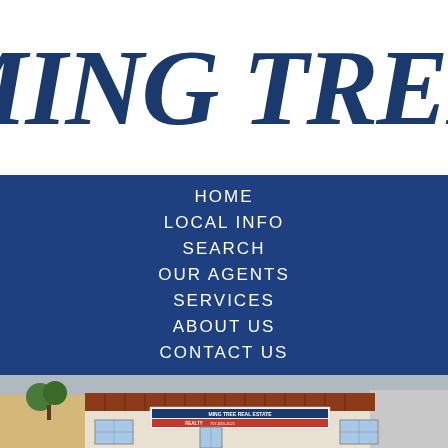MING TREE
HOME
LOCAL INFO
SEARCH
OUR AGENTS
SERVICES
ABOUT US
CONTACT US
[Figure (photo): Exterior photo of Ming Tree Realty building with red/brown shingle roof, white windows, and a sign reading MING TREE REAL ESTATE with phone number 707-839-1521]